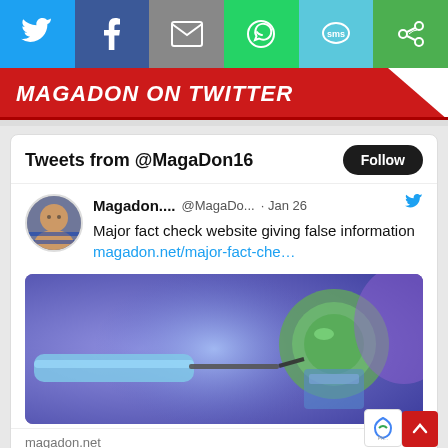[Figure (screenshot): Social media share bar with icons for Twitter, Facebook, Email, WhatsApp, SMS, and another sharing option]
MAGADON ON TWITTER
[Figure (screenshot): Embedded Twitter widget showing tweets from @MagaDon16 with a Follow button, a tweet by Magadon... @MagaDo... Jan 26 saying 'Major fact check website giving false information magadon.net/major-fact-che...' with an image of syringes and a footer showing magadon.net]